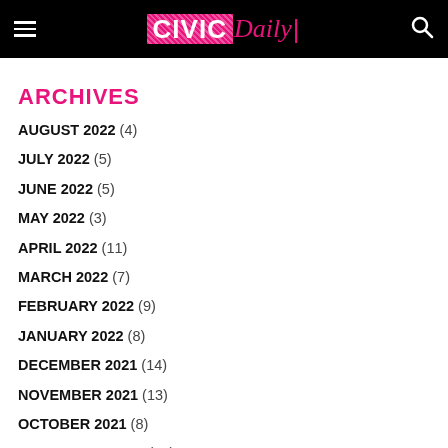CIVIC Daily
ARCHIVES
AUGUST 2022 (4)
JULY 2022 (5)
JUNE 2022 (5)
MAY 2022 (3)
APRIL 2022 (11)
MARCH 2022 (7)
FEBRUARY 2022 (9)
JANUARY 2022 (8)
DECEMBER 2021 (14)
NOVEMBER 2021 (13)
OCTOBER 2021 (8)
SEPTEMBER 2021 (17)